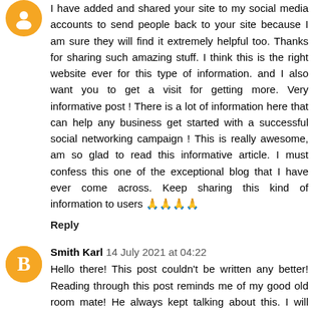I have added and shared your site to my social media accounts to send people back to your site because I am sure they will find it extremely helpful too. Thanks for sharing such amazing stuff. I think this is the right website ever for this type of information. and I also want you to get a visit for getting more. Very informative post ! There is a lot of information here that can help any business get started with a successful social networking campaign ! This is really awesome, am so glad to read this informative article. I must confess this one of the exceptional blog that I have ever come across. Keep sharing this kind of information to users 🙏🙏🙏🙏
Reply
Smith Karl  14 July 2021 at 04:22
Hello there! This post couldn't be written any better! Reading through this post reminds me of my good old room mate! He always kept talking about this. I will forward this write-up to him. Fairly certain he will have a good read. Many thanks for sharing! I am so grateful I found your site, I really found you by error, while I was browsing on Aol for